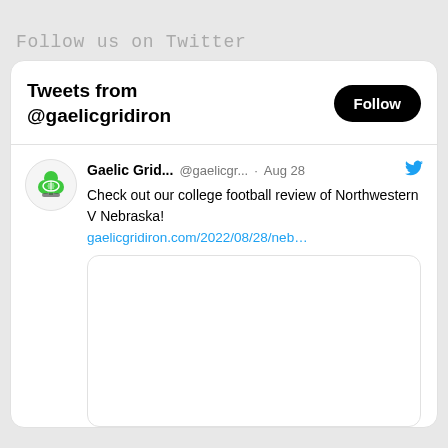Follow us on Twitter
[Figure (screenshot): Twitter widget showing Tweets from @gaelicgridiron with a Follow button. A tweet from Gaelic Grid... @gaelicgr... Aug 28 reads: Check out our college football review of Northwestern V Nebraska! gaelicgridiron.com/2022/08/28/neb...]
Tweets from @gaelicgridiron
Gaelic Grid... @gaelicgr... · Aug 28
Check out our college football review of Northwestern V Nebraska!
gaelicgridiron.com/2022/08/28/neb...